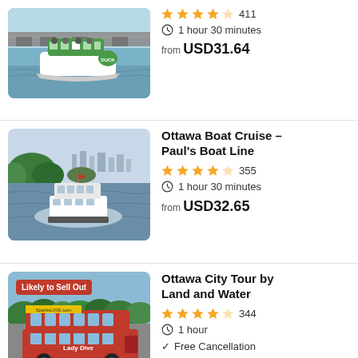[Figure (photo): Duck boat / amphibious green and white tour bus on water under a bridge]
4.5 stars, 411 reviews
1 hour 30 minutes
from USD31.64
[Figure (photo): White boat cruising on a river with city skyline and rocky islands in the background]
Ottawa Boat Cruise – Paul's Boat Line
4.5 stars, 355 reviews
1 hour 30 minutes
from USD32.65
[Figure (photo): Red double-decker amphibious Lady Dive bus with Likely to Sell Out badge]
Ottawa City Tour by Land and Water
4.5 stars, 344 reviews
1 hour
Free Cancellation